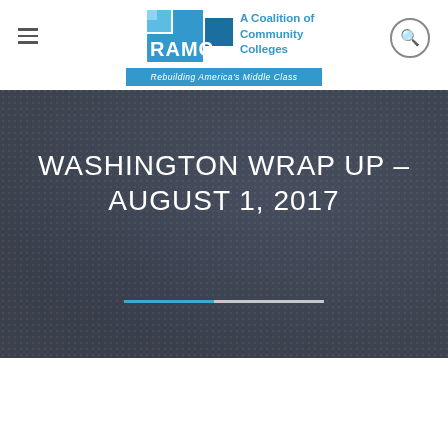[Figure (logo): RAMC logo with blue square blocks, 'RAMC' text, and 'A Coalition of Community Colleges' text, with blue bar 'Rebuilding America's Middle Class']
WASHINGTON WRAP UP – AUGUST 1, 2017
[Figure (other): Dark slate textured hero background with dotted pattern and decorative two-tone divider line (blue and white)]